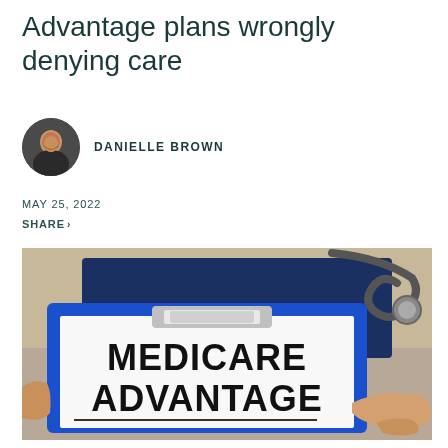Advantage plans wrongly denying care
[Figure (photo): Circular headshot of Danielle Brown, a woman smiling against a dark background]
DANIELLE BROWN
MAY 25, 2022
SHARE ▾
[Figure (photo): A clipboard with a blue border held by hands, showing a white paper with bold text reading MEDICARE ADVANTAGE, with a stethoscope visible in the upper right background on a dark blue surface]